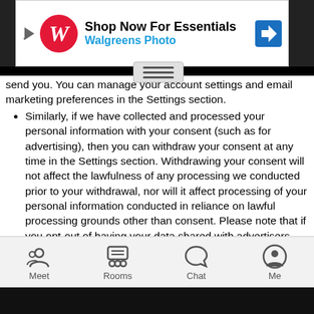[Figure (screenshot): Walgreens Photo advertisement banner: Shop Now For Essentials]
send you. You can manage your account settings and email marketing preferences in the Settings section.
Similarly, if we have collected and processed your personal information with your consent (such as for advertising), then you can withdraw your consent at any time in the Settings section. Withdrawing your consent will not affect the lawfulness of any processing we conducted prior to your withdrawal, nor will it affect processing of your personal information conducted in reliance on lawful processing grounds other than consent. Please note that if you opt-out of having your data shared with advertisers, you will still see ads, they just will not be tailored to your interests.
You have the right to complain to a data protection authority about our collection and use of your personal information. For more information, please contact your local data protection authority.
We respond to all requests we receive from individuals wishing to exercise their data protection rights in accordance with applicable
[Figure (screenshot): App bottom navigation bar with Meet, Rooms, Chat, Me icons]